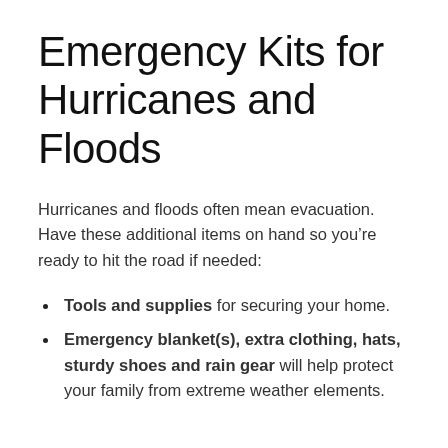Emergency Kits for Hurricanes and Floods
Hurricanes and floods often mean evacuation. Have these additional items on hand so you’re ready to hit the road if needed:
Tools and supplies for securing your home.
Emergency blanket(s), extra clothing, hats, sturdy shoes and rain gear will help protect your family from extreme weather elements.